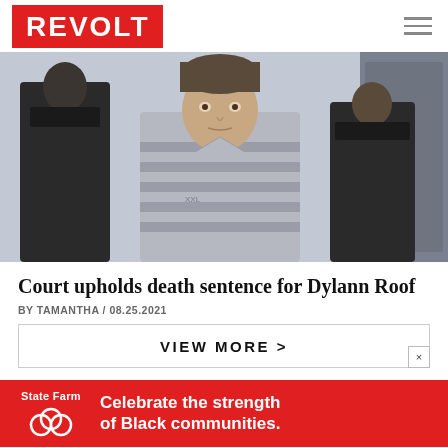REVOLT
[Figure (photo): Dylann Roof in prison attire flanked by two officers in tactical gear in a courthouse or detention facility]
Court upholds death sentence for Dylann Roof
BY TAMANTHA / 08.25.2021
VIEW MORE >
[Figure (infographic): State Farm advertisement: Celebrate the strength of Black communities.]